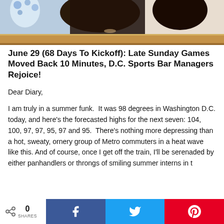[Figure (photo): Photo showing people seated behind a wooden railing or bench, partial view cropped at top]
June 29 (68 Days To Kickoff): Late Sunday Games Moved Back 10 Minutes, D.C. Sports Bar Managers Rejoice!
Dear Diary,
I am truly in a summer funk.  It was 98 degrees in Washington D.C. today, and here's the forecasted highs for the next seven: 104, 100, 97, 97, 95, 97 and 95.  There's nothing more depressing than a hot, sweaty, ornery group of Metro commuters in a heat wave like this. And of course, once I get off the train, I'll be serenaded by either panhandlers or throngs of smiling summer interns in t
0 SHARES  Share on Facebook  Share on Twitter  Share on Pinterest